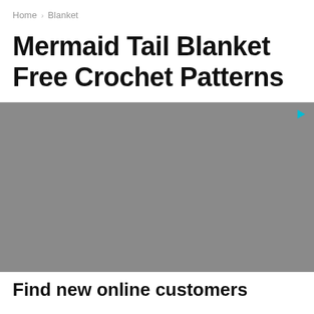Home › Blanket
Mermaid Tail Blanket Free Crochet Patterns
[Figure (other): Gray advertisement placeholder block with a teal/blue play-button style ad icon in the top-right corner.]
Find new online customers